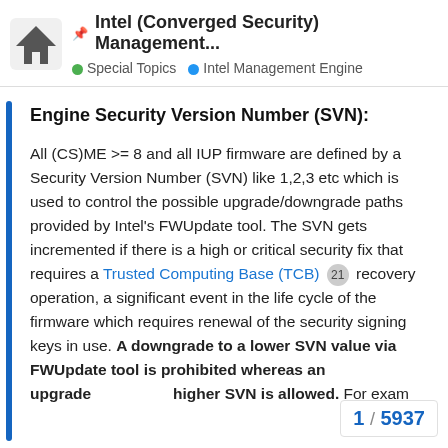📌 Intel (Converged Security) Management... | Special Topics | Intel Management Engine
Engine Security Version Number (SVN):
All (CS)ME >= 8 and all IUP firmware are defined by a Security Version Number (SVN) like 1,2,3 etc which is used to control the possible upgrade/downgrade paths provided by Intel's FWUpdate tool. The SVN gets incremented if there is a high or critical security fix that requires a Trusted Computing Base (TCB) 21 recovery operation, a significant event in the life cycle of the firmware which requires renewal of the security signing keys in use. A downgrade to a lower SVN value via FWUpdate tool is prohibited whereas an upgrade higher SVN is allowed. For exam
1 / 5937